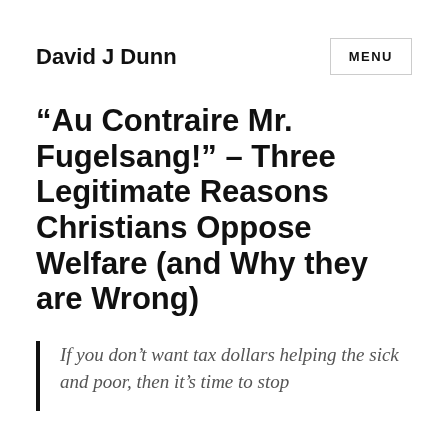David J Dunn
“Au Contraire Mr. Fugelsang!” – Three Legitimate Reasons Christians Oppose Welfare (and Why they are Wrong)
If you don’t want tax dollars helping the sick and poor, then it’s time to stop